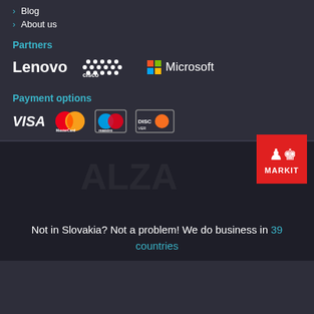Blog
About us
Partners
[Figure (logo): Partner logos: Lenovo, Cisco, Microsoft]
Payment options
[Figure (logo): Payment logos: VISA, MasterCard, Maestro, Discover]
[Figure (logo): MARKIT red badge logo in bottom right]
Not in Slovakia? Not a problem! We do business in 39 countries